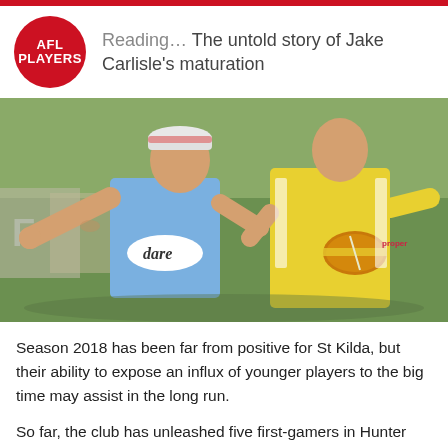Reading… The untold story of Jake Carlisle's maturation
[Figure (photo): Two AFL players at training, one in a blue vest with 'dare' sponsor pointing ahead, another in yellow holding a football]
Season 2018 has been far from positive for St Kilda, but their ability to expose an influx of younger players to the big time may assist in the long run.
So far, the club has unleashed five first-gamers in Hunter Clark, Nick Coffield, Ed Phillips, Bailey Rice and Darragh